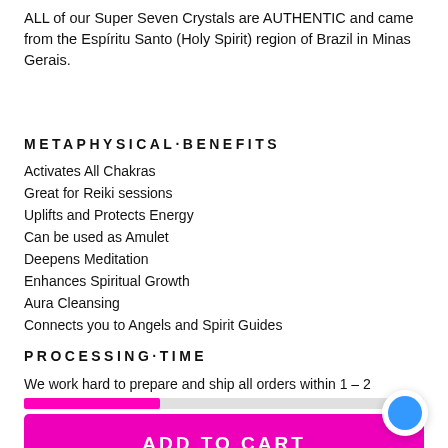ALL of our Super Seven Crystals are AUTHENTIC and came from the Espíritu Santo (Holy Spirit) region of Brazil in Minas Gerais.
METAPHYSICAL·BENEFITS
Activates All Chakras
Great for Reiki sessions
Uplifts and Protects Energy
Can be used as Amulet
Deepens Meditation
Enhances Spiritual Growth
Aura Cleansing
Connects you to Angels and Spirit Guides
PROCESSING·TIME
We work hard to prepare and ship all orders within 1 – 2